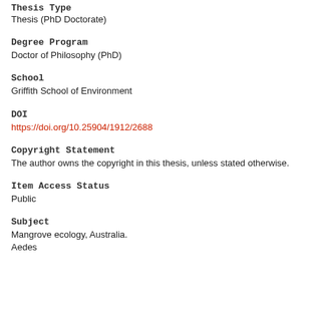Thesis Type
Thesis (PhD Doctorate)
Degree Program
Doctor of Philosophy (PhD)
School
Griffith School of Environment
DOI
https://doi.org/10.25904/1912/2688
Copyright Statement
The author owns the copyright in this thesis, unless stated otherwise.
Item Access Status
Public
Subject
Mangrove ecology, Australia.
Aedes